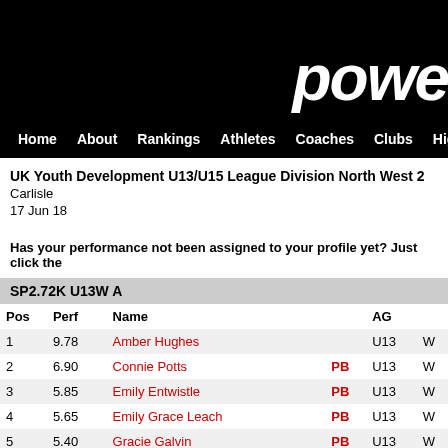powe (logo/navigation bar)
UK Youth Development U13/U15 League Division North West 2
Carlisle
17 Jun 18
Has your performance not been assigned to your profile yet? Just click the
SP2.72K U13W A
| Pos | Perf | Name |  | AG |  |
| --- | --- | --- | --- | --- | --- |
| 1 | 9.78 | Amber Hughes |  | U13 | W |
| 2 | 6.90 | Connie Potts | PB | U13 | W |
| 3 | 5.85 | Emily Entwistle | PB | U13 | W |
| 4 | 5.65 | Emily Grace Leach | PB | U13 | W |
| 5 | 5.40 | Gracie Galvin | PB | U13 | W |
| 6 | 5.37 | Evie Little |  | U13 | W |
| 7 | 5.22 | Bethany Windscheffel | PB | U13 | W |